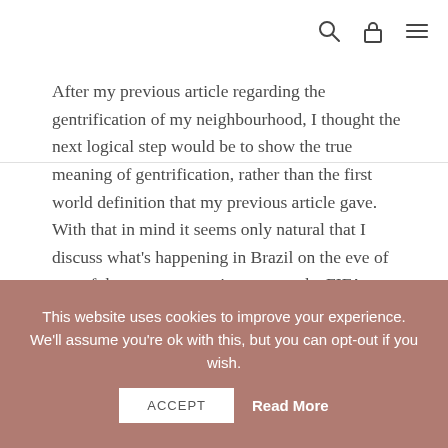[search icon] [lock/bag icon] [menu icon]
After my previous article regarding the gentrification of my neighbourhood, I thought the next logical step would be to show the true meaning of gentrification, rather than the first world definition that my previous article gave. With that in mind it seems only natural that I discuss what's happening in Brazil on the eve of one of the greatest sporting events, the FIFA World Cup.
Brazil is a country that has huge gulfs between rich and poor. A staggering 6% of the entire population lives in favelas. With that in mind you must ask yourself are
This website uses cookies to improve your experience. We'll assume you're ok with this, but you can opt-out if you wish.
ACCEPT
Read More